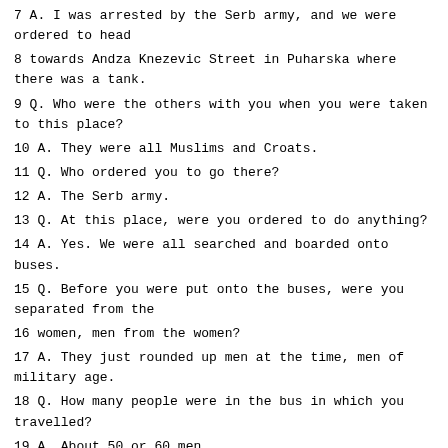7 A. I was arrested by the Serb army, and we were ordered to head
8 towards Andza Knezevic Street in Puharska where there was a tank.
9 Q. Who were the others with you when you were taken to this place?
10 A. They were all Muslims and Croats.
11 Q. Who ordered you to go there?
12 A. The Serb army.
13 Q. At this place, were you ordered to do anything?
14 A. Yes. We were all searched and boarded onto buses.
15 Q. Before you were put onto the buses, were you separated from the
16 women, men from the women?
17 A. They just rounded up men at the time, men of military age.
18 Q. How many people were in the bus in which you travelled?
19 A. About 50 or 60 men.